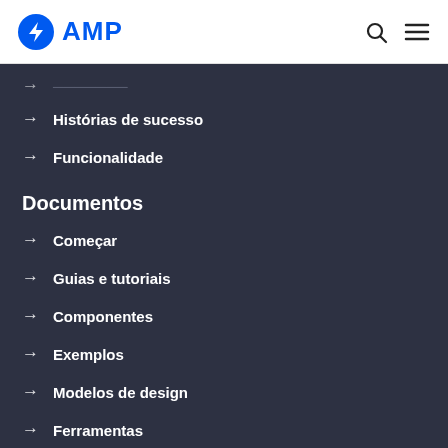AMP
Histórias de sucesso
Funcionalidade
Documentos
Começar
Guias e tutoriais
Componentes
Exemplos
Modelos de design
Ferramentas
Comunidade
Parceiros de plataforma e fornecedor
Contribuir